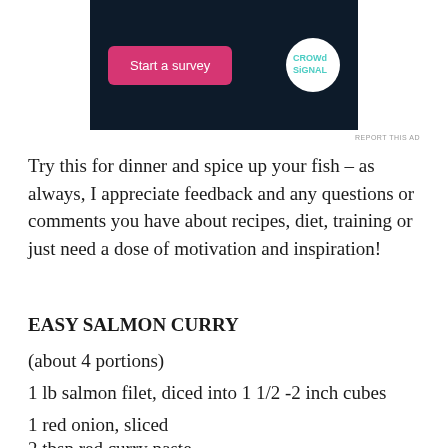[Figure (screenshot): Dark navy advertisement banner with a pink 'Start a survey' button and the Crowdsignal logo (white circle with teal/blue text)]
REPORT THIS AD
Try this for dinner and spice up your fish – as always, I appreciate feedback and any questions or comments you have about recipes, diet, training or just need a dose of motivation and inspiration!
EASY SALMON CURRY
(about 4 portions)
1 lb salmon filet, diced into 1 1/2 -2 inch cubes
1 red onion, sliced
2 tbsp red curry paste